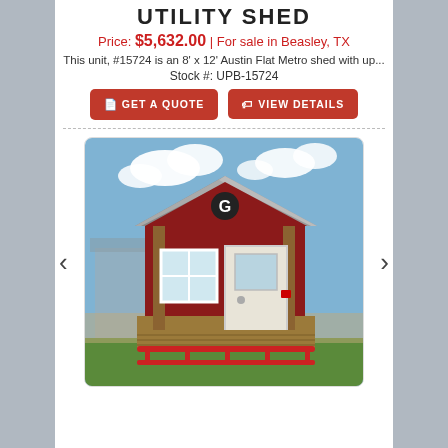UTILITY SHED
Price: $5,632.00 | For sale in Beasley, TX
This unit, #15724 is an 8' x 12' Austin Flat Metro shed with up...
Stock #: UPB-15724
GET A QUOTE
VIEW DETAILS
[Figure (photo): A red utility shed with a pitched gray metal roof, a 'G' logo on the gable, two wooden porch posts, a white entry door, a window, and a wooden porch/deck with a red railing. The shed is displayed outdoors on green grass.]